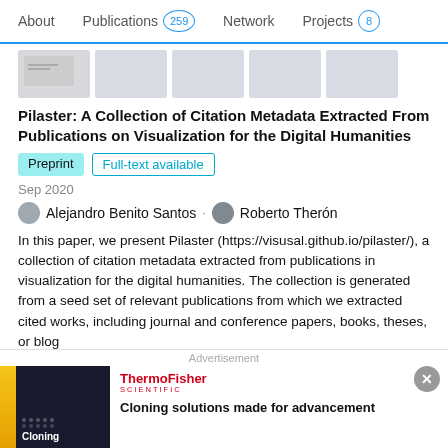About | Publications 259 | Network | Projects 8
[Figure (screenshot): Row of 5 paper thumbnail images]
Pilaster: A Collection of Citation Metadata Extracted From Publications on Visualization for the Digital Humanities
Preprint | Full-text available
Sep 2020
Alejandro Benito Santos · Roberto Therón
In this paper, we present Pilaster (https://visusal.github.io/pilaster/), a collection of citation metadata extracted from publications in visualization for the digital humanities. The collection is generated from a seed set of relevant publications from which we extracted cited works, including journal and conference papers, books, theses, or blog
[Figure (screenshot): Advertisement banner: ThermoFisher Scientific - Cloning solutions made for advancement]